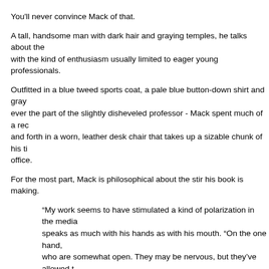You'll never convince Mack of that.
A tall, handsome man with dark hair and graying temples, he talks about the with the kind of enthusiasm usually limited to eager young professionals.
Outfitted in a blue tweed sports coat, a pale blue button-down shirt and gray ever the part of the slightly disheveled professor - Mack spent much of a rec and forth in a worn, leather desk chair that takes up a sizable chunk of his ti office.
For the most part, Mack is philosophical about the stir his book is making.
“My work seems to have stimulated a kind of polarization in the media speaks as much with his hands as with his mouth. “On the one hand, who are somewhat open. They may be nervous, but they’ve allowed t through my process and they see that something’s going on here that
“The other end of the pole is people who simply say this is not possib dismiss the association with UFOs, they completely dismiss the fact t phenomenon occurs in children as young as 2 or 3 years old, they co the fact that the experiences are consistent among thousands of peop country and they dismiss the fact that I say there isn’t mental illness h
Then they become snide, nasty and personally attack me.”
Intellectual Challenges